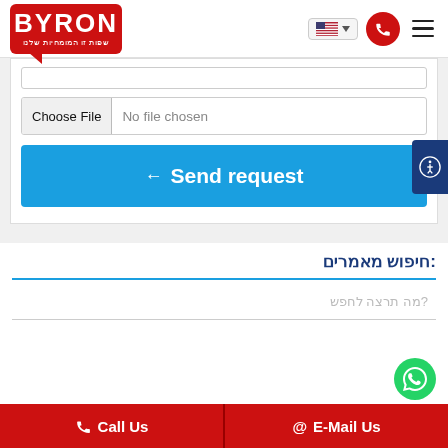[Figure (logo): Byron language school logo — red rounded rectangle with white bold BYRON text and Hebrew subtitle, with red speech bubble tail]
[Figure (screenshot): Website UI showing a file chooser input ('Choose File / No file chosen'), a blue 'Send request' button with left arrow icon, an article search section in Hebrew ':חיפוש מאמרים', a search text input, a green WhatsApp button, and red bottom bar with 'Call Us' and 'E-Mail Us' buttons]
Choose File  No file chosen
Send request
:חיפוש מאמרים
?מה תרצה לחפש
Call Us
E-Mail Us